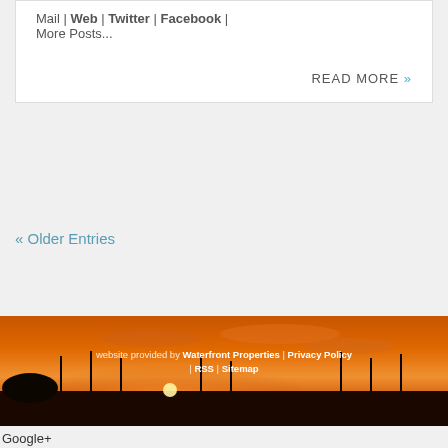Mail | Web | Twitter | Facebook | More Posts...
READ MORE »
« Older Entries
[Figure (photo): Waterfront sunset photo with silhouette of boats and masts against an orange sky]
website provided by Waterfront Properties | Privacy Policy | RSS | Sitemap
Google+